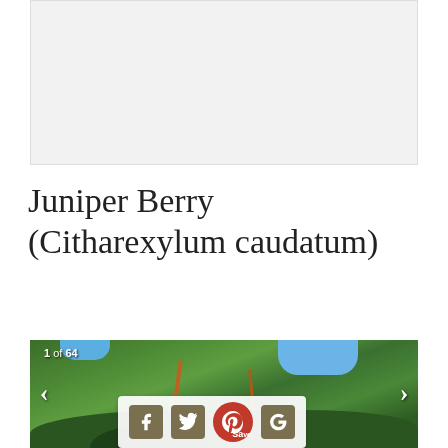[Figure (other): Advertisement banner placeholder, light gray background]
Juniper Berry (Citharexylum caudatum)
[Figure (photo): Photograph of a Juniper Berry (Citharexylum caudatum) shrub/tree showing dense green foliage with some orange-brown twigs, blue sky visible in background. Counter overlay '1 of 64' shown in top-left. Navigation arrows on left and right sides. Social sharing bar at bottom with Facebook, Twitter, Pinterest (Save), and Google+ icons.]